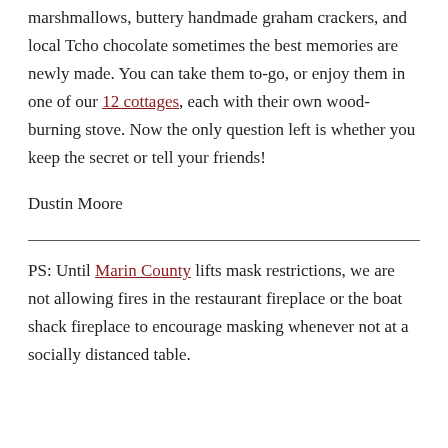marshmallows, buttery handmade graham crackers, and local Tcho chocolate sometimes the best memories are newly made. You can take them to-go, or enjoy them in one of our 12 cottages, each with their own wood-burning stove. Now the only question left is whether you keep the secret or tell your friends!
Dustin Moore
PS: Until Marin County lifts mask restrictions, we are not allowing fires in the restaurant fireplace or the boat shack fireplace to encourage masking whenever not at a socially distanced table.